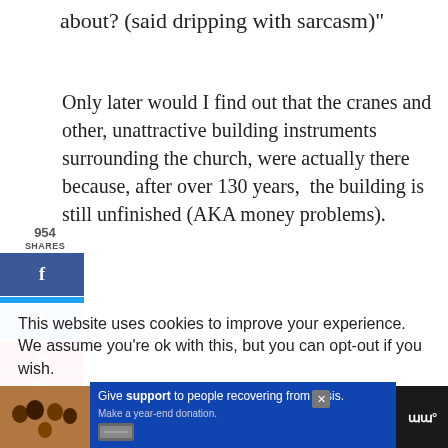about? (said dripping with sarcasm)"
Only later would I find out that the cranes and other, unattractive building instruments surrounding the church, were actually there because, after over 130 years, the building is still unfinished (AKA money problems).
And while the outside is impressive in scale and stature:
You only experience the true beauty of this
This website uses cookies to improve your experience. We assume you're ok with this, but you can opt-out if you wish.
[Figure (infographic): Social share sidebar with Facebook, Twitter, Pinterest, LinkedIn buttons. Share count: 954. Pinterest count: 954.]
[Figure (infographic): Right side buttons: heart/like button (teal), count 955, share button (teal)]
[Figure (infographic): Advertisement bar at bottom: family photo, blue background with 'Give support to people recovering from crisis. Make a year-end donation.' Close X button. WW logo.]